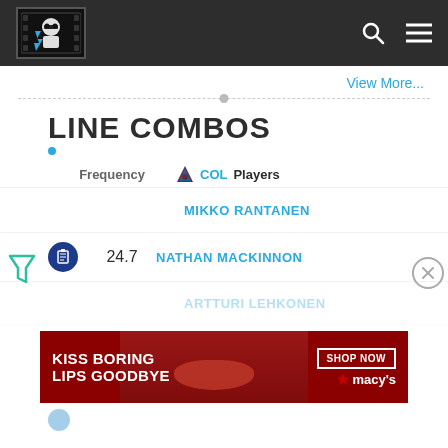Line Combos – NHL Stats site header with logo, search, and menu icons
View More...
LINE COMBOS
| Frequency | COL Players |
| --- | --- |
|  | MIKKO RANTANEN |
| 24.7 | NATHAN MACKINNON |
|  | ARTTURI LEHKONEN |
[Figure (photo): Macy's advertisement banner: 'Kiss Boring Lips Goodbye' with woman's face and red lips, SHOP NOW button and Macy's star logo]